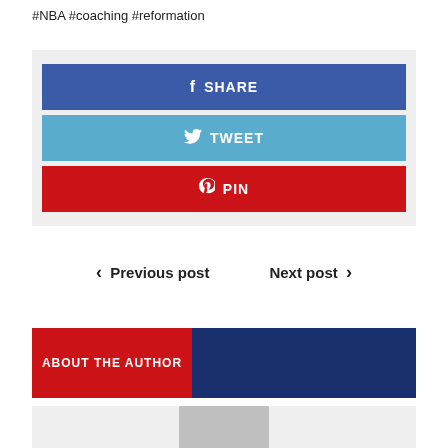#NBA #coaching #reformation
[Figure (infographic): Social share buttons: SHARE (Facebook, blue), TWEET (Twitter, light blue), PIN (Pinterest, red)]
< Previous post   Next post >
ABOUT THE AUTHOR
[Figure (photo): Author photo, partially visible at bottom of page]